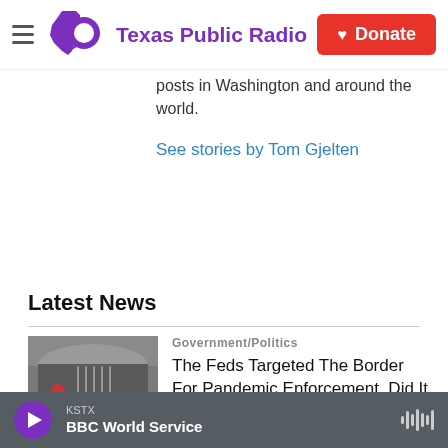Texas Public Radio — Donate
posts in Washington and around the world.
See stories by Tom Gjelten
Latest News
[Figure (photo): Photo of people at a border crossing facility with fence and arched building]
Government/Politics
The Feds Targeted The Border For Pandemic Enforcement. Did It Work?
KSTX BBC World Service